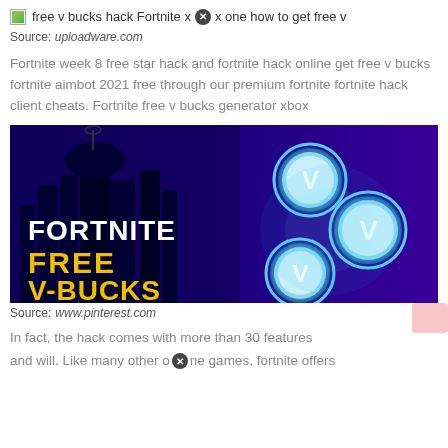free v bucks hack Fortnite x[x] one how to get free v
Source: uploadware.com
Fortnite week 8 free star hack and fortnite hack online get free v bucks fortnite aimbot 2021 free through our premium fortnite fortnite hack client cheats. Fortnite free v bucks generator xbox
[Figure (photo): Fortnite promotional image showing dark city skyline silhouette on left with bold white text 'FORTNITE' and yellow text 'FREE V-BUCKS', right side has three glowing blue circular V-buck coin icons on purple background]
Source: www.pinterest.com
In fact, the hack comes with more than 30 features and will. Like many other online games, fortnite offers